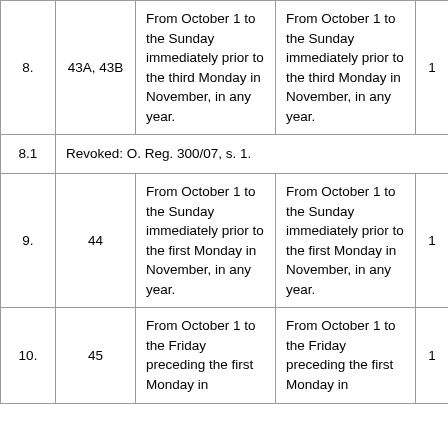| 8. | 43A, 43B | From October 1 to the Sunday immediately prior to the third Monday in November, in any year. | From October 1 to the Sunday immediately prior to the third Monday in November, in any year. | 1 |
| 8.1 | Revoked: O. Reg. 300/07, s. 1. |  |  |  |
| 9. | 44 | From October 1 to the Sunday immediately prior to the first Monday in November, in any year. | From October 1 to the Sunday immediately prior to the first Monday in November, in any year. | 1 |
| 10. | 45 | From October 1 to the Friday preceding the first Monday in | From October 1 to the Friday preceding the first Monday in | 1 |